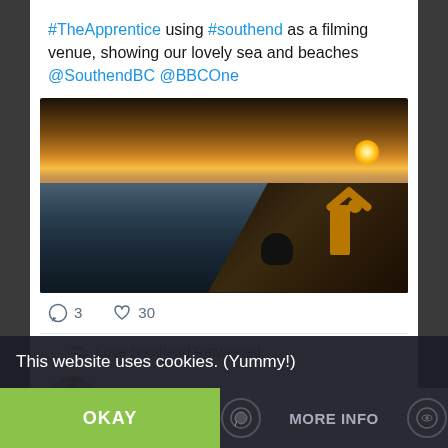#TheApprentice using #southend as a filming venue, showing our lovely sea and beaches @SouthendBC @BBCOne
[Figure (photo): Sunset photo at a beach/seaside with two people silhouetted against the sky. One person in a yellow jacket has arms raised. The sun is setting over calm water.]
3  30 (comment and like counts)
Love Southend Retweeted
Felix de Wolfe 🐺
Oct 29, 2018
This website uses cookies. (Yummy!)
OKAY
MORE INFO